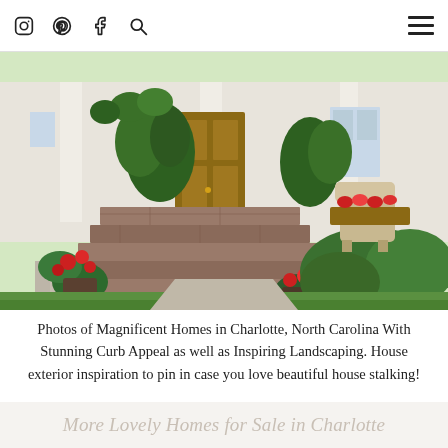Instagram Pinterest Facebook Search Navigation Menu
[Figure (photo): Exterior photo of a house in Charlotte, North Carolina showing brick steps leading to a front porch with lush green landscaping, potted red flowers, wicker furniture, and a wooden front door surrounded by plants.]
Photos of Magnificent Homes in Charlotte, North Carolina With Stunning Curb Appeal as well as Inspiring Landscaping. House exterior inspiration to pin in case you love beautiful house stalking!
More Lovely Homes for Sale in Charlotte